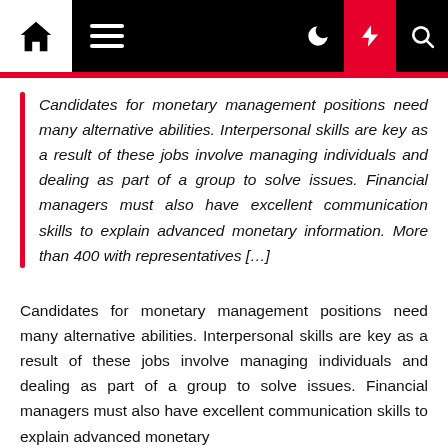[Navigation bar with home, menu, moon, lightning, and search icons]
Candidates for monetary management positions need many alternative abilities. Interpersonal skills are key as a result of these jobs involve managing individuals and dealing as part of a group to solve issues. Financial managers must also have excellent communication skills to explain advanced monetary information. More than 400 with representatives […]
Candidates for monetary management positions need many alternative abilities. Interpersonal skills are key as a result of these jobs involve managing individuals and dealing as part of a group to solve issues. Financial managers must also have excellent communication skills to explain advanced monetary